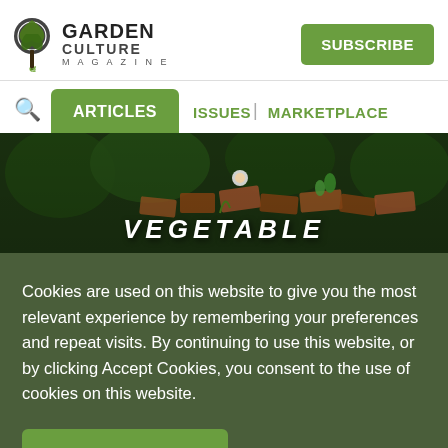GARDEN CULTURE MAGAZINE | SUBSCRIBE
ARTICLES | ISSUES | MARKETPLACE
[Figure (photo): Garden with stone/brick edging and green plants, with 'VEGETABLE' text overlay at the bottom]
Cookies are used on this website to give you the most relevant experience by remembering your preferences and repeat visits. By continuing to use this website, or by clicking Accept Cookies, you consent to the use of cookies on this website.
ACCEPT COOKIES